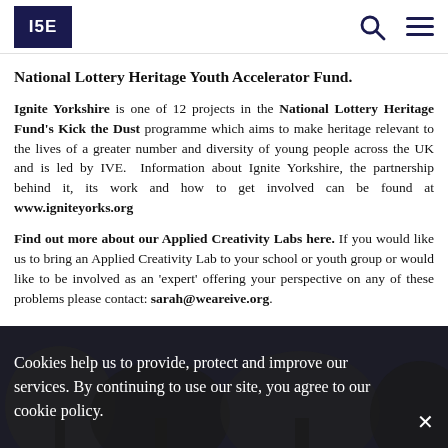IVE [logo] | Search | Menu
National Lottery Heritage Youth Accelerator Fund.
Ignite Yorkshire is one of 12 projects in the National Lottery Heritage Fund's Kick the Dust programme which aims to make heritage relevant to the lives of a greater number and diversity of young people across the UK and is led by IVE.  Information about Ignite Yorkshire, the partnership behind it, its work and how to get involved can be found at www.igniteyorks.org
Find out more about our Applied Creativity Labs here. If you would like us to bring an Applied Creativity Lab to your school or youth group or would like to be involved as an 'expert' offering your perspective on any of these problems please contact: sarah@weareive.org.
Cookies help us to provide, protect and improve our services. By continuing to use our site, you agree to our cookie policy.